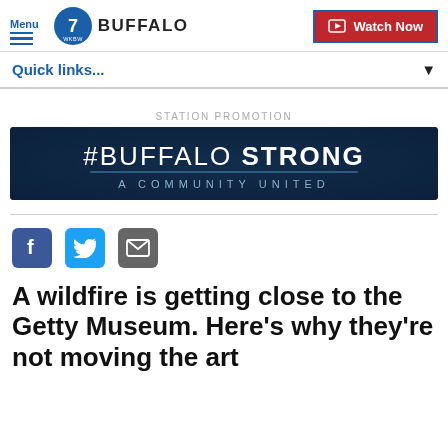Menu | 7 WKBW BUFFALO | Watch Now
Quick links...
STATION PROMOTION
[Figure (illustration): #BUFFALO STRONG - A COMMUNITY UNITED banner image with dark blue background and crowd silhouette]
A wildfire is getting close to the Getty Museum. Here's why they're not moving the art